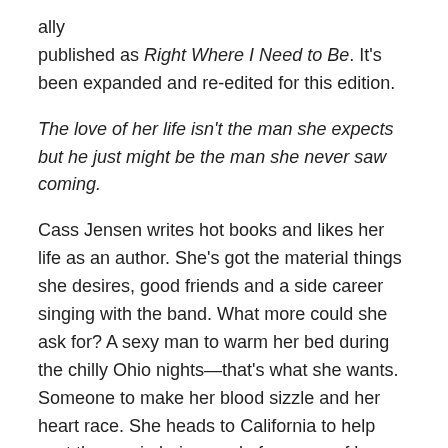ally published as Right Where I Need to Be. It's been expanded and re-edited for this edition.
The love of her life isn't the man she expects but he just might be the man she never saw coming.
Cass Jensen writes hot books and likes her life as an author. She's got the material things she desires, good friends and a side career singing with the band. What more could she ask for? A sexy man to warm her bed during the chilly Ohio nights—that's what she wants. Someone to make her blood sizzle and her heart race. She heads to California to help cast the movie being made from one of her books. She's not interested in dating another actor, but what if the man she needs is on the other side of the audition table?